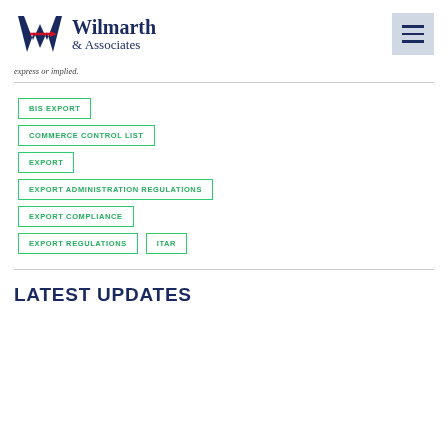Wilmarth & Associates
express or implied.
BIS EXPORT
COMMERCE CONTROL LIST
EXPORT
EXPORT ADMINISTRATION REGULATIONS
EXPORT COMPLIANCE
EXPORT REGULATIONS
ITAR
LATEST UPDATES